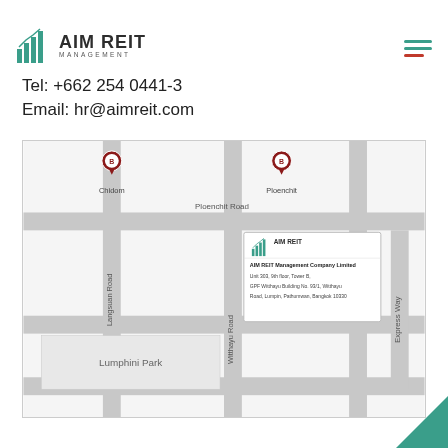[Figure (logo): AIM REIT Management logo with bar chart icon]
Tel: +662 254 0441-3
Email: hr@aimreit.com
[Figure (map): Street map showing AIM REIT Management Company Limited office location near Ploenchit Road, Bangkok. Shows Chidom BTS station, Ploenchit BTS station, Langsuan Road, Witthayu Road, Express Way, Ploenchit Road, and Lumphini Park. Office popup shows: AIM REIT Management Company Limited, Unit 303, 9th floor, Tower B, GPF Witthayu Building No. 93/1, Witthayu Road, Lumpin, Pathumwan, Bangkok 10330.]